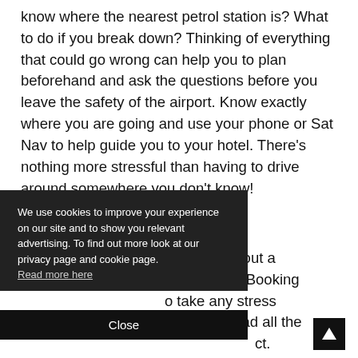know where the nearest petrol station is? What to do if you break down? Thinking of everything that could go wrong can help you to plan beforehand and ask the questions before you leave the safety of the airport. Know exactly where you are going and use your phone or Sat Nav to help guide you to your hotel. There's nothing more stressful than having to drive around somewhere you don't know!
…eaving without a …e daunting. Booking …o take any stress …l first and read all the …ct.
[Figure (other): Cookie consent overlay with dark background. Text reads: 'We use cookies to improve your experience on our site and to show you relevant advertising. To find out more look at our privacy page and cookie page. Read more here'. Below is a 'Close' button bar.]